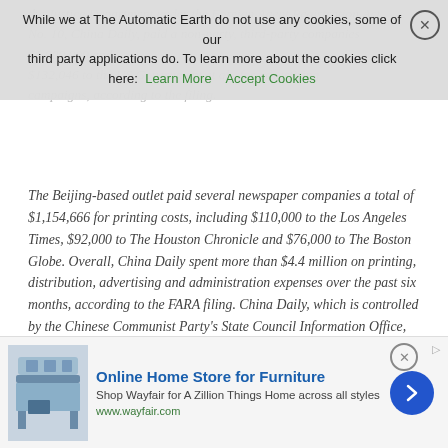the Justice Department under the Foreign Agent Registration Act. No. 10, China Daily, paid a non-party, third-party companies $1,000,000 and $132,046 to the US Government et al., for advertising campaigns, according to the filing.
The Beijing-based outlet paid several newspaper companies a total of $1,154,666 for printing costs, including $110,000 to the Los Angeles Times, $92,000 to The Houston Chronicle and $76,000 to The Boston Globe. Overall, China Daily spent more than $4.4 million on printing, distribution, advertising and administration expenses over the past six months, according to the FARA filing. China Daily, which is controlled by the Chinese Communist Party's State Council Information Office, its propaganda agency, has for years paid newspapers and magazines in the U.S. and other Western countries to publish advertorials designed to look like legitimate news articles. China Daily paid The Washington Post more than $4.6 million from late 2016 through October 2019, according to a FARA filing. China Daily
[Figure (other): Cookie consent banner overlay with text: While we at The Automatic Earth do not use any cookies, some of our third party applications do. To learn more about the cookies click here: Learn More | Accept Cookies]
[Figure (other): Advertisement banner for Wayfair: Online Home Store for Furniture. Shop Wayfair for A Zillion Things Home across all styles. www.wayfair.com]